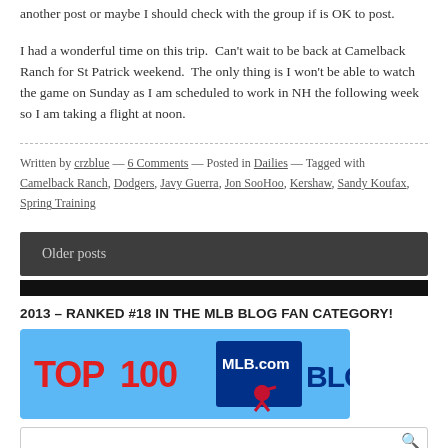another post or maybe I should check with the group if is OK to post.
I had a wonderful time on this trip.  Can't wait to be back at Camelback Ranch for St Patrick weekend.  The only thing is I won't be able to watch the game on Sunday as I am scheduled to work in NH the following week so I am taking a flight at noon.
Written by crzblue — 6 Comments — Posted in Dailies — Tagged with Camelback Ranch, Dodgers, Javy Guerra, Jon SooHoo, Kershaw, Sandy Koufax, Spring Training
Older posts
2013 – RANKED #18 IN THE MLB BLOG FAN CATEGORY!
[Figure (illustration): TOP 100 MLB.com BLOGS badge — blue background with red 'TOP 100' text, MLB.com logo with silhouette batter, and 'BLOGS' in blue text]